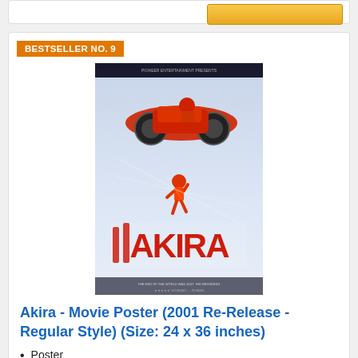BESTSELLER NO. 9
[Figure (photo): Akira anime movie poster showing a red motorcycle and character with Japanese text]
Akira - Movie Poster (2001 Re-Release - Regular Style) (Size: 24 x 36 inches)
Poster
Size: 24" x 36"
Ships in Secure Packaging